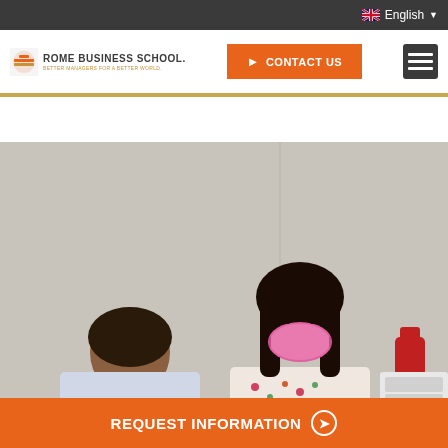English
[Figure (logo): Rome Business School logo with orange emblem and text]
CONTACT US
[Figure (photo): Two people sitting at a desk; one wearing a pink face mask, both appear to be in a classroom or meeting room setting]
REQUEST INFORMATION